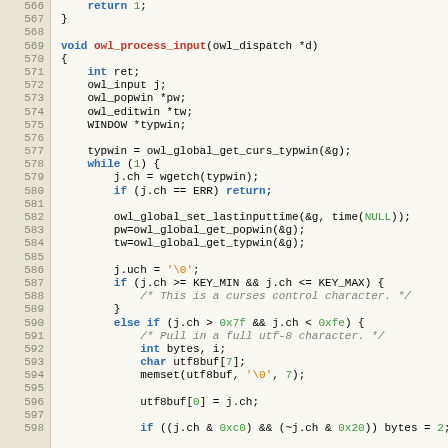[Figure (screenshot): Source code listing in C, lines 566-598, showing owl_process_input function with syntax highlighting. Line numbers in tan/beige gutter on left, code on right with keywords in blue bold, function names in red, string literals in orange, comments in gray italic, numeric constants in green.]